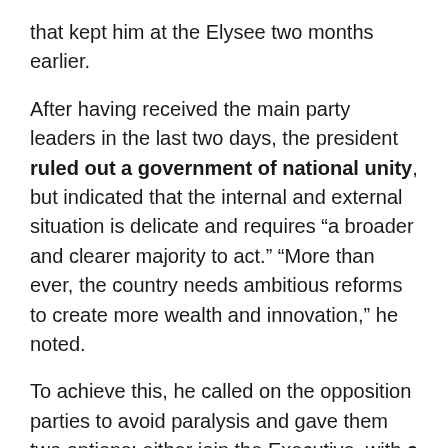that kept him at the Elysee two months earlier.
After having received the main party leaders in the last two days, the president ruled out a government of national unity, but indicated that the internal and external situation is delicate and requires “a broader and clearer majority to act.” “More than ever, the country needs ambitious reforms to create more wealth and innovation,” he noted.
To achieve this, he called on the opposition parties to avoid paralysis and gave them two options: either join the Executive, with a coalition program good to support some legislative texts with which they feel more comfortable.
The appeal was general, but between the lines it had two recipients. On one hand the conservative Right, that although it lost half of its representation, it maintains 61 deputies, enough for Macron’s party to reach an absolute